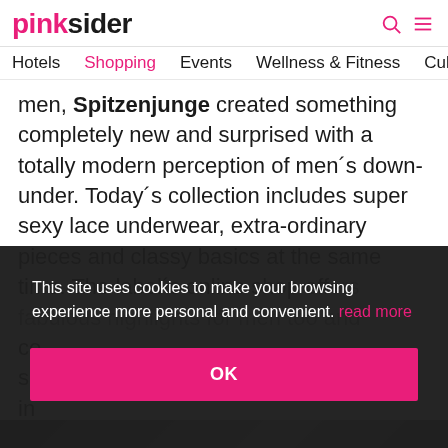pinksider
Hotels  Shopping  Events  Wellness & Fitness  Culture
men, Spitzenjunge created something completely new and surprised with a totally modern perception of men´s down-under. Today´s collection includes super sexy lace underwear, extra-ordinary pieces and classy basics at the same time. The label´s online shop offers fabulous highlights for men too and co... se... in... hi...
This site uses cookies to make your browsing experience more personal and convenient. read more
OK